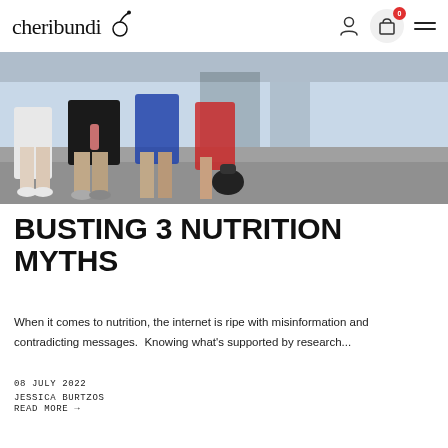cheribundi
[Figure (photo): Outdoor photo showing lower bodies of runners/athletes in motion, wearing athletic shorts and sneakers, on a road or track surface. One person holds a water bottle.]
BUSTING 3 NUTRITION MYTHS
When it comes to nutrition, the internet is ripe with misinformation and contradicting messages.  Knowing what's supported by research...
08 JULY 2022
JESSICA BURTZOS
READ MORE →